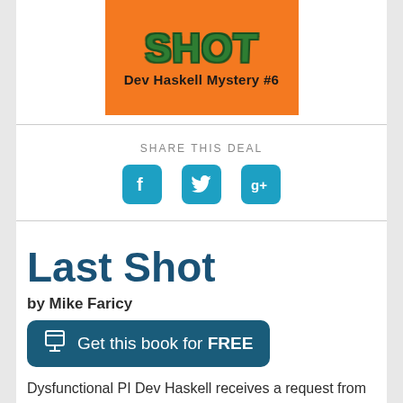[Figure (illustration): Book cover for 'Last Shot - Dev Haskell Mystery #6' with orange background, green stylized title text 'SHOT' and subtitle 'Dev Haskell Mystery #6' in black bold text]
SHARE THIS DEAL
[Figure (infographic): Three social media icons: Facebook (f), Twitter (bird), and Google+ (g+), each in teal/blue rounded square buttons]
Last Shot
by Mike Faricy
Get this book for FREE
Dysfunctional PI Dev Haskell receives a request from beautiful, red-headed Desi Quinn to investigate the